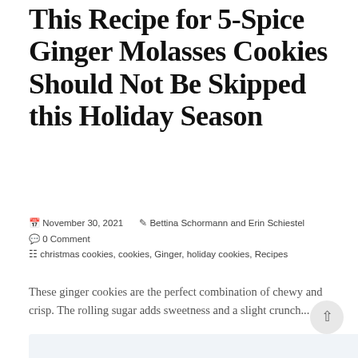This Recipe for 5-Spice Ginger Molasses Cookies Should Not Be Skipped this Holiday Season
November 30, 2021  Bettina Schormann and Erin Schiestel  0 Comment  christmas cookies, cookies, Ginger, holiday cookies, Recipes
These ginger cookies are the perfect combination of chewy and crisp. The rolling sugar adds sweetness and a slight crunch...
+ READ MORE